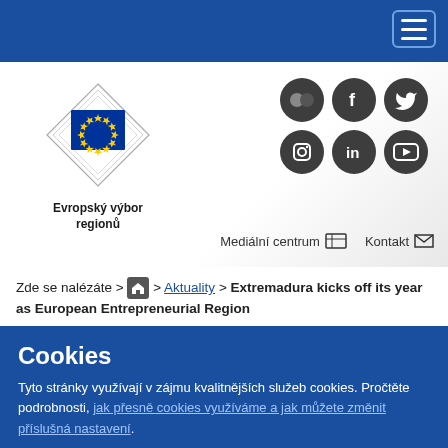Navigation header with hamburger menu
[Figure (logo): European Committee of the Regions logo with EU flag diamond shape and text 'Evropský výbor regionů']
[Figure (infographic): Social media icons: Flickr, Facebook, Twitter, Instagram, LinkedIn, YouTube]
Mediální centrum  Kontakt
Zde se nalézáte >  > Aktuality > Extremadura kicks off its year as European Entrepreneurial Region
Cookies
Tyto stránky využívají v zájmu kvalitnějších služeb cookies. Pročtěte podrobnosti, jak přesně cookies využíváme a jak můžete změnit příslušná nastavení.
Povolit cookies  Zakázat cookies